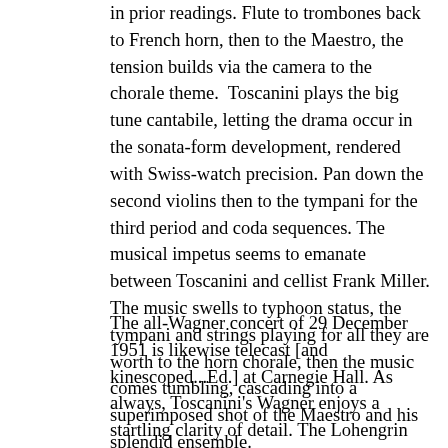in prior readings. Flute to trombones back to French horn, then to the Maestro, the tension builds via the camera to the chorale theme.  Toscanini plays the big tune cantabile, letting the drama occur in the sonata-form development, rendered with Swiss-watch precision. Pan down the second violins then to the tympani for the third period and coda sequences. The musical impetus seems to emanate between Toscanini and cellist Frank Miller. The music swells to typhoon status, the tympani and strings playing for all they are worth to the horn chorale, then the music comes tumbling, cascading into a superimposed shot of the Maestro and his splendid ensemble.
The all-Wagner concert of 29 December 1951 is likewise telecast [and kinescoped...Ed.] at Carnegie Hall. As always, Toscanini's Wagner enjoys a startling clarity of detail. The Lohengrin Prelude moves rather briskly, with Toscanini's left hand quite active in molding orchestral motifs and eliciting instrumental